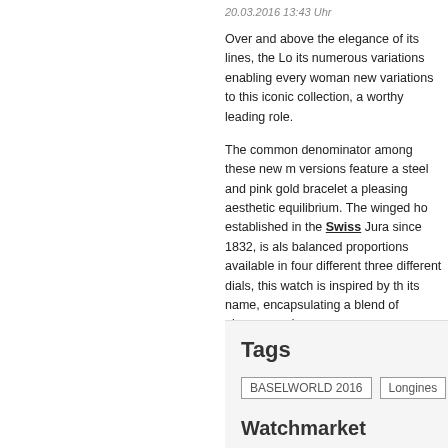20.03.2016 13:43 Uhr
Over and above the elegance of its lines, the Lo its numerous variations enabling every woman new variations to this iconic collection, a worthy leading role.
The common denominator among these new m versions feature a steel and pink gold bracelet a pleasing aesthetic equilibrium. The winged ho established in the Swiss Jura since 1832, is als balanced proportions available in four different three different dials, this watch is inspired by th its name, encapsulating a blend of glamour and
This love-at-first-sight object radiates the same
Tags
BASELWORLD 2016
Longines
Watchmarket
There are 344 items of "Longines" at the m